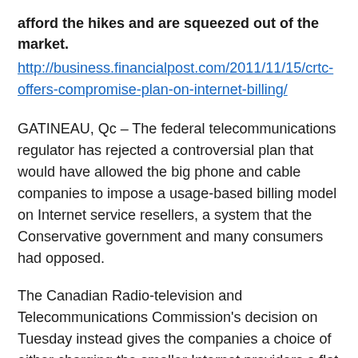afford the hikes and are squeezed out of the market.
http://business.financialpost.com/2011/11/15/crtc-offers-compromise-plan-on-internet-billing/
GATINEAU, Qc – The federal telecommunications regulator has rejected a controversial plan that would have allowed the big phone and cable companies to impose a usage-based billing model on Internet service resellers, a system that the Conservative government and many consumers had opposed.
The Canadian Radio-television and Telecommunications Commission's decision on Tuesday instead gives the companies a choice of either charging the smaller Internet providers a flat rate per user or selling the ISPs a specific amount of capacity on their networks.